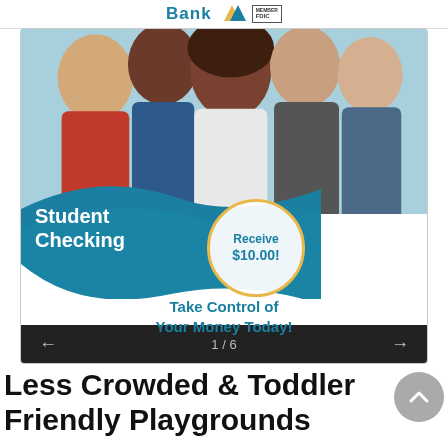[Figure (logo): Bank logo with star shape and MEMBER FDIC badge]
[Figure (infographic): Student Checking bank advertisement showing young adults, teal wave design, 'Student Checking' text, 'Receive $10.00!' circle badge, and 'Take Control of Your Money Today!' tagline. Navigation shows 1/6.]
Less Crowded & Toddler Friendly Playgrounds